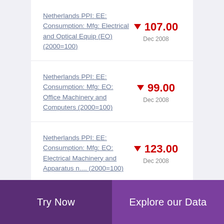Netherlands PPI: EE: Consumption: Mfg: Electrical and Optical Equip (EO) (2000=100)
Netherlands PPI: EE: Consumption: Mfg: EO: Office Machinery and Computers (2000=100)
Netherlands PPI: EE: Consumption: Mfg: EO: Electrical Machinery and Apparatus n.... (2000=100)
Try Now
Explore our Data